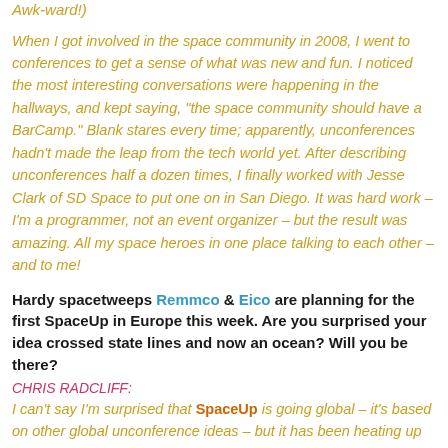Awk-ward!)
When I got involved in the space community in 2008, I went to conferences to get a sense of what was new and fun. I noticed the most interesting conversations were happening in the hallways, and kept saying, "the space community should have a BarCamp." Blank stares every time; apparently, unconferences hadn't made the leap from the tech world yet. After describing unconferences half a dozen times, I finally worked with Jesse Clark of SD Space to put one on in San Diego. It was hard work – I'm a programmer, not an event organizer – but the result was amazing. All my space heroes in one place talking to each other – and to me!
Hardy spacetweeps Remmco & Eico are planning for the first SpaceUp in Europe this week. Are you surprised your idea crossed state lines and now an ocean? Will you be there?
CHRIS RADCLIFF:
I can't say I'm surprised that SpaceUp is going global – it's based on other global unconference ideas – but it has been heating up much faster than I figured it would. At last year's